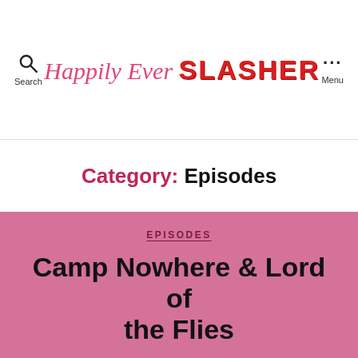Happily Ever SLASHER — Search | Menu
Category: Episodes
EPISODES
Camp Nowhere & Lord of the Flies
By Amanda  August 12, 2020